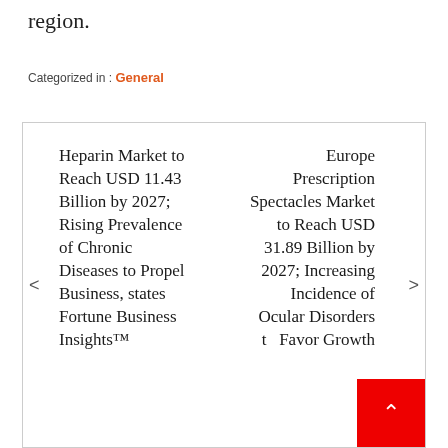region.
Categorized in : General
Heparin Market to Reach USD 11.43 Billion by 2027; Rising Prevalence of Chronic Diseases to Propel Business, states Fortune Business Insights™
Europe Prescription Spectacles Market to Reach USD 31.89 Billion by 2027; Increasing Incidence of Ocular Disorders to Favor Growth